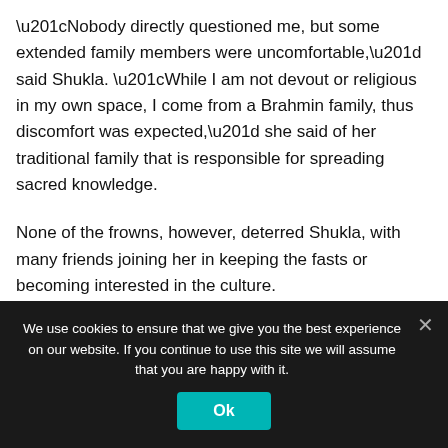“Nobody directly questioned me, but some extended family members were uncomfortable,” said Shukla. “While I am not devout or religious in my own space, I come from a Brahmin family, thus discomfort was expected,” she said of her traditional family that is responsible for spreading sacred knowledge.
None of the frowns, however, deterred Shukla, with many friends joining her in keeping the fasts or becoming interested in the culture.
This year, under the coronavirus lockdown, Shukla decided to
We use cookies to ensure that we give you the best experience on our website. If you continue to use this site we will assume that you are happy with it.
Ok